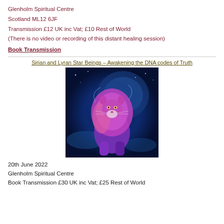Glenholm Spiritual Centre
Scotland ML12 6JF
Transmission £12 UK inc Vat; £10 Rest of World
(There is no video or recording of this distant healing session)
Book Transmission
Sirian and Lyran Star Beings – Awakening the DNA codes of Truth
[Figure (illustration): A mystical glowing lion with purple and pink cosmic energy, sitting against a blue starry background]
20th June 2022
Glenholm Spiritual Centre
Book Transmission £30 UK inc Vat; £25 Rest of World